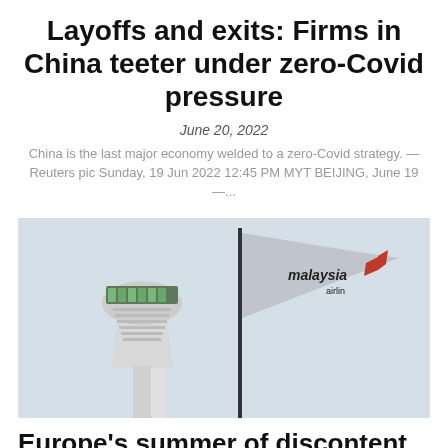Layoffs and exits: Firms in China teeter under zero-Covid pressure
June 20, 2022
China is the last major economy welded to a zero-Covid strategy. — Reuters pic Sunday, 19 Jun 2022 12:45 PM MYT BEIJING, June 19 —...
[Figure (photo): Photo of an airport control tower with a Malaysia Airlines flag in the foreground against a light blue sky.]
Europe's summer of discontent reveals